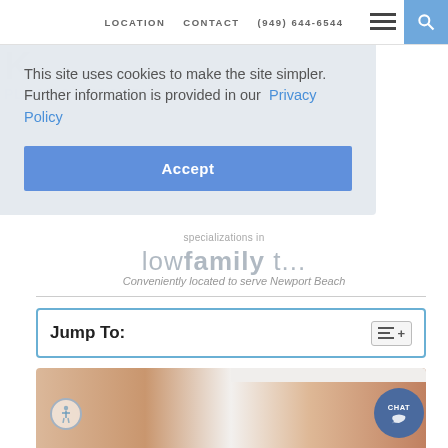LOCATION   CONTACT   (949) 644-6544
This site uses cookies to make the site simpler. Further information is provided in our Privacy Policy
Accept
Conveniently located to serve Newport Beach
Jump To:
[Figure (photo): Medical body contouring photo showing torso/abdomen area]
CHAT